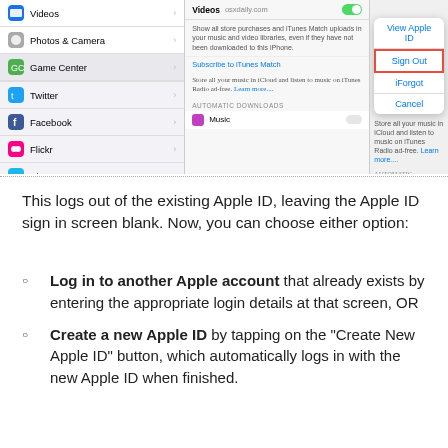[Figure (screenshot): iOS Settings screenshot showing iTunes & App Store sign-out dialog with options: View Apple ID, Sign Out (highlighted in red border), iForgot, Cancel. Left panel shows settings list with Videos, Photos & Camera, Game Center, Twitter, Facebook, Flickr, Vimeo entries.]
This logs out of the existing Apple ID, leaving the Apple ID sign in screen blank. Now, you can choose either option:
Log in to another Apple account that already exists by entering the appropriate login details at that screen, OR
Create a new Apple ID by tapping on the "Create New Apple ID" button, which automatically logs in with the new Apple ID when finished.